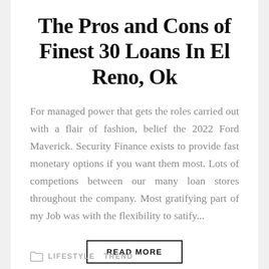The Pros and Cons of Finest 30 Loans In El Reno, Ok
For managed power that gets the roles carried out with a flair of fashion, belief the 2022 Ford Maverick. Security Finance exists to provide fast monetary options if you want them most. Lots of competions between our many loan stores throughout the company. Most gratifying part of my Job was with the flexibility to satify...
READ MORE
LIFESTYLE   TREND